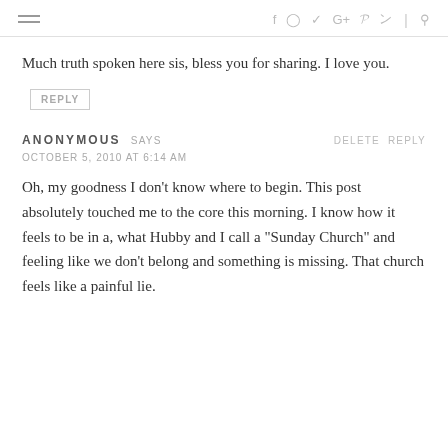≡  f  ⊙  𝕥  G+  𝕡  ⋙  |  🔍
Much truth spoken here sis, bless you for sharing. I love you.
REPLY
ANONYMOUS SAYS   DELETE  REPLY
OCTOBER 5, 2010 AT 6:14 AM
Oh, my goodness I don't know where to begin. This post absolutely touched me to the core this morning. I know how it feels to be in a, what Hubby and I call a "Sunday Church" and feeling like we don't belong and something is missing. That church feels like a painful lie.